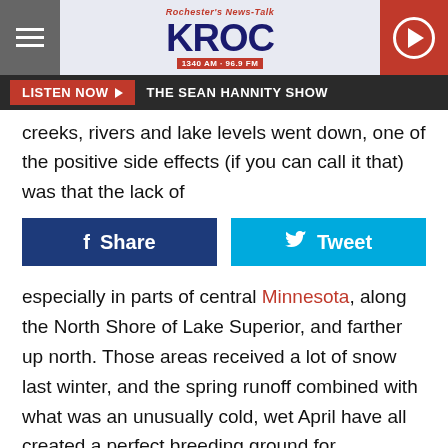Rochester's News-Talk KROC 1340 AM · 96.9 FM
LISTEN NOW ▶  THE SEAN HANNITY SHOW
creeks, rivers and lake levels went down, one of the positive side effects (if you can call it that) was that the lack of
f Share   🐦 Tweet
especially in parts of central Minnesota, along the North Shore of Lake Superior, and farther up north. Those areas received a lot of snow last winter, and the spring runoff combined with what was an unusually cold, wet April have all created a perfect breeding ground for mosquitoes so far this spring and summer.
SEIZE THE DEAL: GOLF 8 SE MN COURSES FOR JUST $99!
This KARE-11 story says that in the Twin Cities, Metropolitan